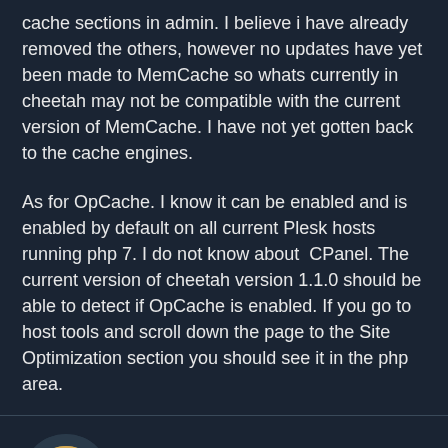cache sections in admin. I believe i have already removed the others, however no updates have yet been made to MemCache so whats currently in cheetah may not be compatible with the current version of MemCache. I have not yet gotten back to the cache engines.

As for OpCache. I know it can be enabled and is enabled by default on all current Plesk hosts running php 7. I do not know about CPanel. The current version of cheetah version 1.1.0 should be able to detect if OpCache is enabled. If you go to host tools and scroll down the page to the Site Optimization section you should see it in the php area.
Geek_Girl · Member · 680 posts
Quote · 04.21.2021 · 1 likes · 👍
I have been working on a site and the question of